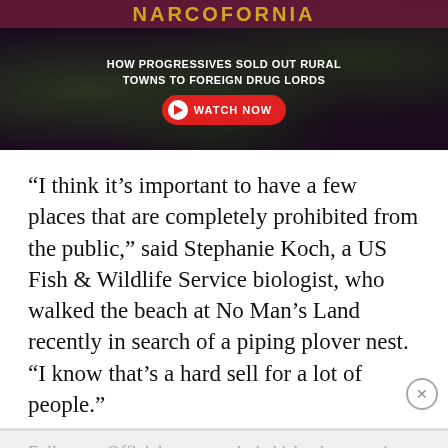[Figure (screenshot): Advertisement banner for 'Narcofornia' documentary showing cannabis leaves on dark background with text 'HOW PROGRESSIVES SOLD OUT RURAL TOWNS TO FOREIGN DRUG LORDS' and a red 'WATCH NOW' button]
“I think it’s important to have a few places that are completely prohibited from the public,” said Stephanie Koch, a US Fish & Wildlife Service biologist, who walked the beach at No Man’s Land recently in search of a piping plover nest. “I know that’s a hard sell for a lot of people.”
Full story: Officials want secluded island to remain…
[Figure (screenshot): Second advertisement banner for 'Narcofornia' documentary with 'HOW PROGRESSIVES SOLD OUT RURAL TOWNS TO FOREIGN DRUG LORDS' text, WATCH NOW button, and the Narcofornia logo with an X close button]